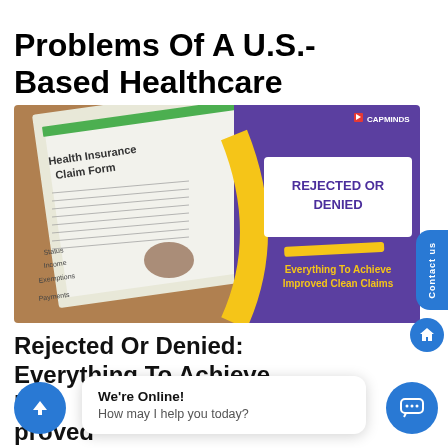Problems Of A U.S.-Based Healthcare Organization
[Figure (illustration): Promotional image showing a health insurance claim form being filled out on the left side, and on the right a purple background with 'REJECTED OR DENIED' in bold white text inside a white box, with text below 'Everything To Achieve Improved Clean Claims' and CAPMINDS logo at top right.]
Rejected Or Denied: Everything To Achieve Improved Clean Claims